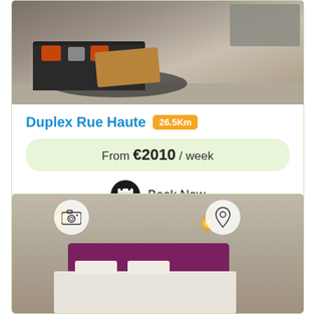[Figure (photo): Living room photo showing a dark sofa with orange and gray cushions, a wooden coffee table, and a dining area in the background]
Duplex Rue Haute 26.5Km
From €2010 / week
Book Now
[Figure (photo): Bedroom photo showing a bed with a purple/plum headboard, white bedding and pillows, warm wall lights, with camera and location pin overlay icons]